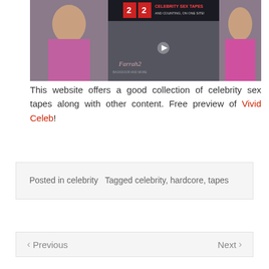[Figure (photo): Screenshot of a celebrity adult content website showing promotional images and text '22 CELEBRITY SEX TAPES AND COUNTING, ON ONE SITE!']
This website offers a good collection of celebrity sex tapes along with other content. Free preview of Vivid Celeb!
Posted in celebrity   Tagged celebrity, hardcore, tapes
< Previous   Next >